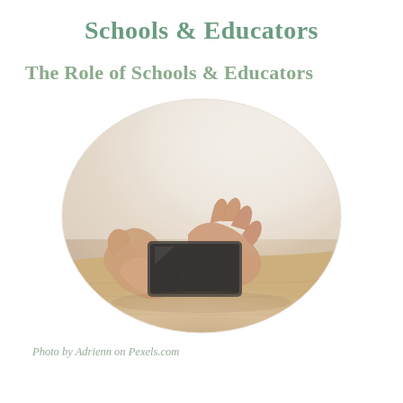Schools & Educators
The Role of Schools & Educators
[Figure (photo): Oval/ellipse cropped photo of two hands holding and using a smartphone, resting on a wooden table surface, warm lighting from background]
Photo by Adrienn on Pexels.com